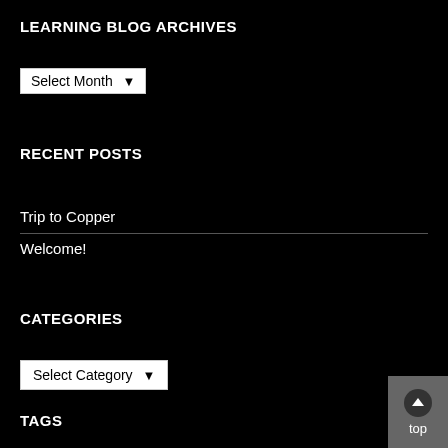LEARNING BLOG ARCHIVES
[Figure (screenshot): Select Month dropdown widget]
RECENT POSTS
Trip to Copper
Welcome!
CATEGORIES
[Figure (screenshot): Select Category dropdown widget]
TAGS